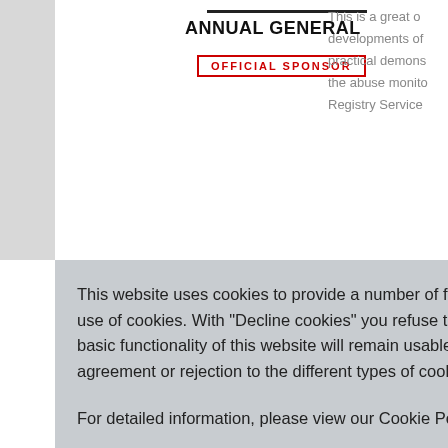ANNUAL GENERAL
OFFICIAL SPONSOR
This is a great o... developments of... practical demons... the abuse monito... Registry Service...
This website uses cookies to provide a number of functions. By clicking "OK, accept cookies", you consent to the use of cookies. With "Decline cookies" you refuse the usage of cookies and related technologies as a whole. The basic functionality of this website will remain usable even then. Via "Cookie settings" you can adjust your agreement or rejection to the different types of cookies.

For detailed information, please view our Cookie Policy.
Cookie settings
OK, accept cookies
Decline cookies